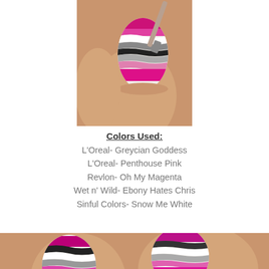[Figure (photo): Close-up photo of a finger with nail art showing horizontal wavy stripes in magenta/pink, grey, white, and black colors. A nail brush is visible applying polish.]
Colors Used:
L'Oreal- Greycian Goddess
L'Oreal- Penthouse Pink
Revlon- Oh My Magenta
Wet n' Wild- Ebony Hates Chris
Sinful Colors- Snow Me White
[Figure (photo): Close-up photo of two fingers showing nail art with horizontal wavy stripes in magenta, black, white, grey, and pink colors against skin tones.]